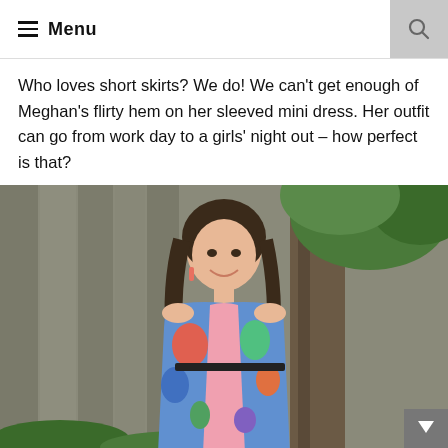☰ Menu
Who loves short skirts? We do! We can't get enough of Meghan's flirty hem on her sleeved mini dress. Her outfit can go from work day to a girls' night out – how perfect is that?
[Figure (photo): A young woman with long wavy dark hair, smiling, wearing a colorful sleeveless mini dress with blue, pink, and green floral/abstract pattern, standing outdoors in front of a wooden fence and a tree with green foliage.]